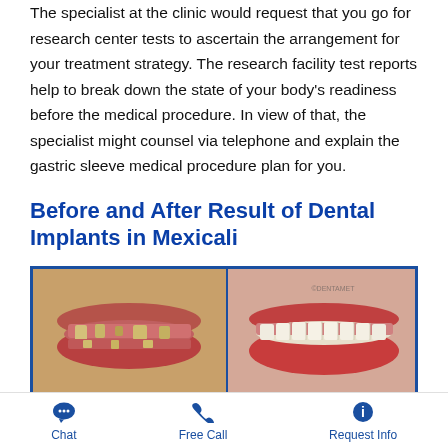The specialist at the clinic would request that you go for research center tests to ascertain the arrangement for your treatment strategy. The research facility test reports help to break down the state of your body's readiness before the medical procedure. In view of that, the specialist might counsel via telephone and explain the gastric sleeve medical procedure plan for you.
Before and After Result of Dental Implants in Mexicali
[Figure (photo): Before and after comparison of dental implants in Mexicali. Left image shows a person's mouth with missing and damaged teeth (before). Right image shows the same person's mouth after dental implants with full, even teeth.]
Chat   Free Call   Request Info